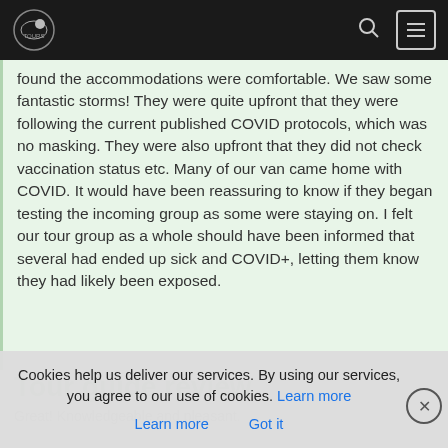[Navigation bar with logo, search icon, and menu button]
found the accommodations were comfortable. We saw some fantastic storms! They were quite upfront that they were following the current published COVID protocols, which was no masking. They were also upfront that they did not check vaccination status etc. Many of our van came home with COVID. It would have been reassuring to know if they began testing the incoming group as some were staying on. I felt our tour group as a whole should have been informed that several had ended up sick and COVID+, letting them know they had likely been exposed.
Tour guide review
Great! Knowledgeable and pleasant.
Cookies help us deliver our services. By using our services, you agree to our use of cookies. Learn more  Got it